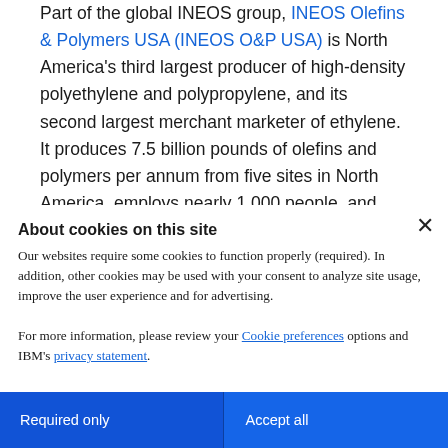Part of the global INEOS group, INEOS Olefins & Polymers USA (INEOS O&P USA) is North America's third largest producer of high-density polyethylene and polypropylene, and its second largest merchant marketer of ethylene. It produces 7.5 billion pounds of olefins and polymers per annum from five sites in North America, employs nearly 1,000 people, and
About cookies on this site
Our websites require some cookies to function properly (required). In addition, other cookies may be used with your consent to analyze site usage, improve the user experience and for advertising.

For more information, please review your Cookie preferences options and IBM's privacy statement.